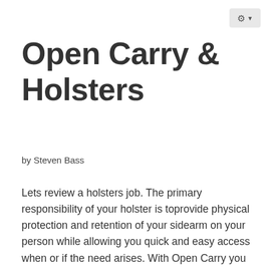[Figure (other): Settings gear icon button with dropdown arrow in top-right corner]
Open Carry & Holsters
by Steven Bass
Lets review a holsters job. The primary responsibility of your holster is toprovide physical protection and retention of your sidearm on your person while allowing you quick and easy access when or if the need arises. With Open Carry you also want a holster that provides some degree of restriction from access to your firearm by others.  Holsters can accomplish this in several ways to include but not limited to quality of materials, construction, fit, cant and manual retention